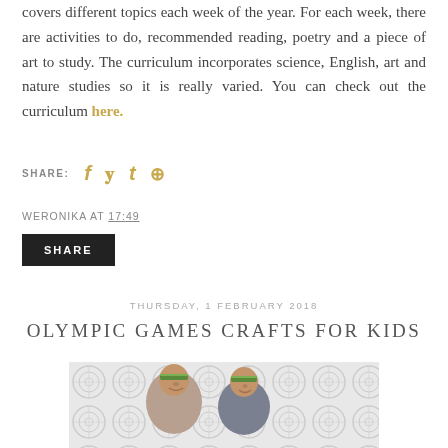covers different topics each week of the year. For each week, there are activities to do, recommended reading, poetry and a piece of art to study. The curriculum incorporates science, English, art and nature studies so it is really varied. You can check out the curriculum here.
SHARE: [social icons]
WERONIKA AT 17:49
SHARE
THURSDAY, 1 FEBRUARY 2018
OLYMPIC GAMES CRAFTS FOR KIDS
[Figure (photo): Two children wearing handmade Olympic-themed headbands, posing in front of a decorative background with circular/medallion pattern]